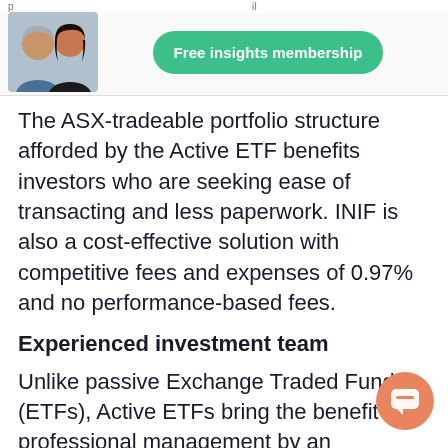Free insights membership
The ASX-tradeable portfolio structure afforded by the Active ETF benefits investors who are seeking ease of transacting and less paperwork. INIF is also a cost-effective solution with competitive fees and expenses of 0.97% and no performance-based fees.
Experienced investment team
Unlike passive Exchange Traded Funds (ETFs), Active ETFs bring the benefit of professional management by an experienced investment team.
INIF will be managed by James Carlisle, Head